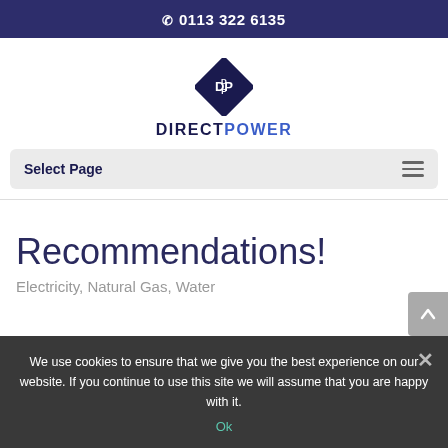0113 322 6135
[Figure (logo): Direct Power diamond DP logo with text DIRECTPOWER]
Select Page
Recommendations!
Electricity, Natural Gas, Water
We use cookies to ensure that we give you the best experience on our website. If you continue to use this site we will assume that you are happy with it.
Ok